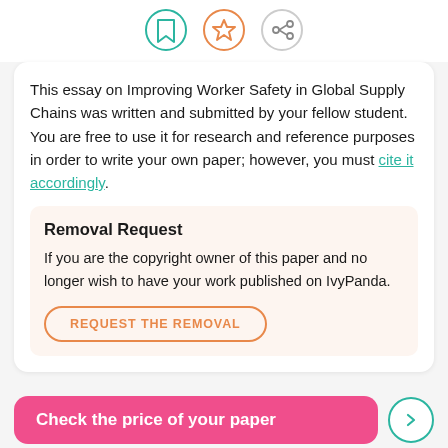[Figure (illustration): Three circular icon buttons: a teal bookmark icon, an orange star icon, and a gray share/network icon]
This essay on Improving Worker Safety in Global Supply Chains was written and submitted by your fellow student. You are free to use it for research and reference purposes in order to write your own paper; however, you must cite it accordingly.
Removal Request
If you are the copyright owner of this paper and no longer wish to have your work published on IvyPanda.
REQUEST THE REMOVAL
Check the price of your paper